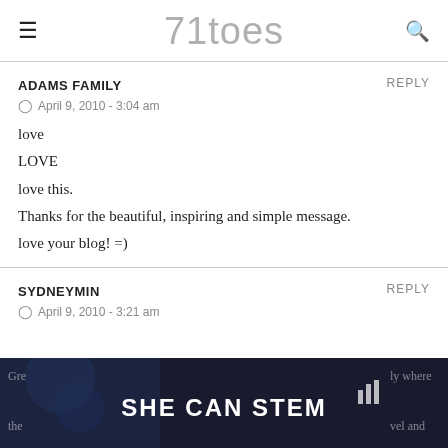71toes
ADAMS FAMILY
April 9, 2010 - 3:04 am
love
LOVE
love this.
Thanks for the beautiful, inspiring and simple message.
love your blog! =)
SYDNEYMIN
April 9, 2010 - 3:21 am
[Figure (screenshot): Advertisement banner with dark background reading SHE CAN STEM with partial blog comment text visible behind it]